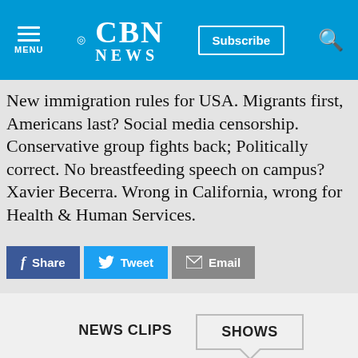CBN NEWS
New immigration rules for USA. Migrants first, Americans last? Social media censorship. Conservative group fights back; Politically correct. No breastfeeding speech on campus? Xavier Becerra. Wrong in California, wrong for Health & Human Services.
[Figure (screenshot): Social sharing buttons: Facebook Share, Twitter Tweet, Email]
NEWS CLIPS    SHOWS
24/7 NEWS CHANNEL